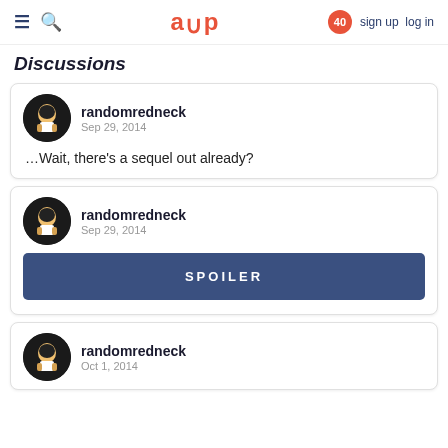Discussions
randomredneck
Sep 29, 2014

...Wait, there's a sequel out already?
randomredneck
Sep 29, 2014

SPOILER
randomredneck
Oct 1, 2014